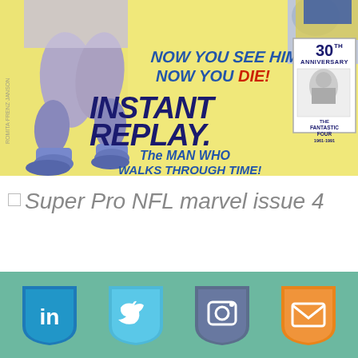[Figure (illustration): Comic book cover showing NFL Super Pro, issue 4. Features football players in the foreground on a yellow background. Text reads: 'NOW YOU SEE HIM, NOW YOU DIE! INSTANT REPLAY. The MAN WHO WALKS THROUGH TIME!' with a 30th Anniversary Fantastic Four (1961-1991) box in the top right corner.]
Super Pro NFL marvel issue 4
[Figure (infographic): Social media icons row on teal/green background: LinkedIn (blue shield), Twitter (light blue shield), Instagram (dark blue shield), Email (orange shield)]